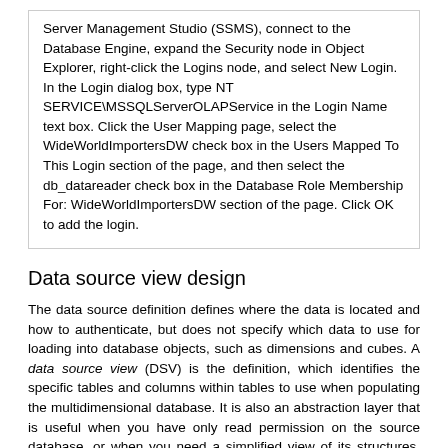Server Management Studio (SSMS), connect to the Database Engine, expand the Security node in Object Explorer, right-click the Logins node, and select New Login. In the Login dialog box, type NT SERVICE\MSSQLServerOLAPService in the Login Name text box. Click the User Mapping page, select the WideWorldImportersDW check box in the Users Mapped To This Login section of the page, and then select the db_datareader check box in the Database Role Membership For: WideWorldImportersDW section of the page. Click OK to add the login.
Data source view design
The data source definition defines where the data is located and how to authenticate, but does not specify which data to use for loading into database objects, such as dimensions and cubes. A data source view (DSV) is the definition, which identifies the specific tables and columns within tables to use when populating the multidimensional database. It is also an abstraction layer that is useful when you have only read permission on the source database, or when you need a simplified view of its structures. You can make logical changes to the tables and views in the DSV to support specific requirements in SSAS without the need to change the physical data source. Generally speaking, you should attempt to change the physical data source as needed whenever possible because implementing logical changes in the DSV can introduce challenges into ongoing maintenance in addition to the troubleshooting